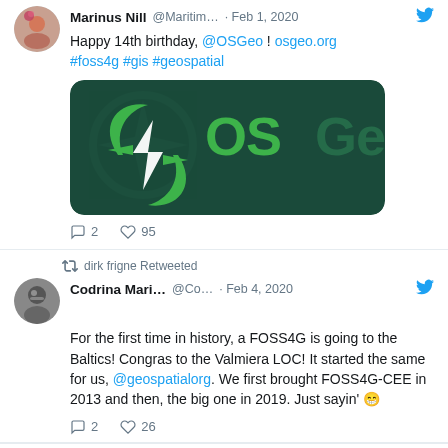Happy 14th birthday, @OSGeo ! osgeo.org #foss4g #gis #geospatial
[Figure (logo): OSGeo logo on dark green background with green compass/lightning bolt symbol and OSGeo text]
2 replies, 95 likes
dirk frigne Retweeted
Codrina Mari... @Co... · Feb 4, 2020
For the first time in history, a FOSS4G is going to the Baltics! Congras to the Valmiera LOC! It started the same for us, @geospatialorg. We first brought FOSS4G-CEE in 2013 and then, the big one in 2019. Just sayin' 😁
2 replies, 26 likes
dirk frigne Retweeted